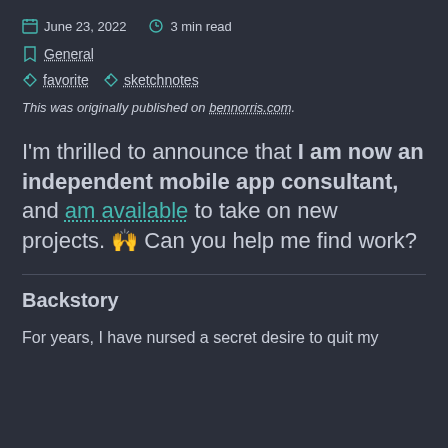June 23, 2022   3 min read
General
favorite   sketchnotes
This was originally published on bennorris.com.
I'm thrilled to announce that I am now an independent mobile app consultant, and am available to take on new projects. 🙌 Can you help me find work?
Backstory
For years, I have nursed a secret desire to quit my